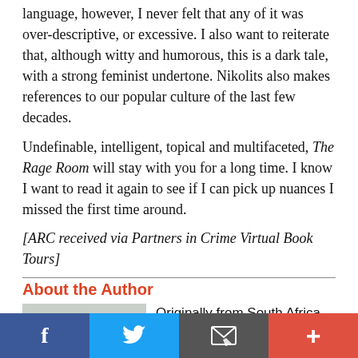language, however, I never felt that any of it was over-descriptive, or excessive.  I also want to reiterate that, although witty and humorous, this is a dark tale, with a strong feminist undertone.  Nikolits also makes references to our popular culture of the last few decades.
Undefinable, intelligent, topical and multifaceted, The Rage Room will stay with you for a long time.  I know I want to read it again to see if I can pick up nuances I missed the first time around.
[ARC received via Partners in Crime Virtual Book Tours]
About the Author
[Figure (photo): Photo of Lisa de Nikolits, a woman wearing a dark hat and glasses, smiling outdoors]
Originally from South Africa, Lisa de Nikolits is an award-winning author whose work has appeared on recommended reading lists for both Open Book Toronto and the 49th Shelf, as well as being chosen as a Shelf, as well as being chosen as a Shortlisting Editor's Pick and...
f  [Twitter bird]  [Email icon]  +